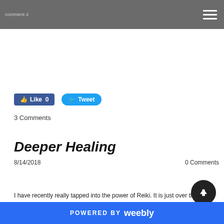comment 4
[Figure (screenshot): Social sharing buttons: Facebook Like 0 and Twitter Tweet button]
3 Comments
Deeper Healing
8/14/2018   0 Comments
I have recently really tapped into the power of Reiki. It is just over three years now since I was first attuned. And not the first energy therapy I have ever
POWERED BY weebly